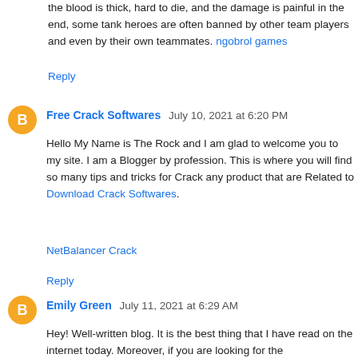the blood is thick, hard to die, and the damage is painful in the end, some tank heroes are often banned by other team players and even by their own teammates. ngobrol games
Reply
Free Crack Softwares July 10, 2021 at 6:20 PM
Hello My Name is The Rock and I am glad to welcome you to my site. I am a Blogger by profession. This is where you will find so many tips and tricks for Crack any product that are Related to Download Crack Softwares.
NetBalancer Crack
Reply
Emily Green July 11, 2021 at 6:29 AM
Hey! Well-written blog. It is the best thing that I have read on the internet today. Moreover, if you are looking for the